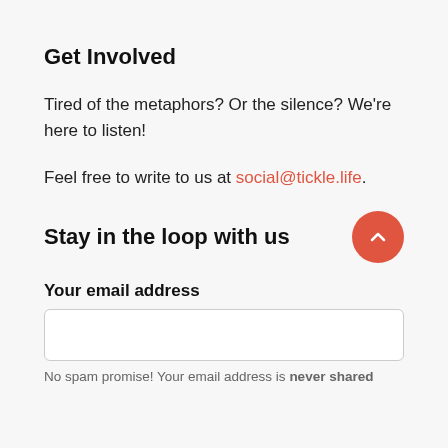Get Involved
Tired of the metaphors? Or the silence? We’re here to listen!
Feel free to write to us at social@tickle.life.
Stay in the loop with us
Your email address
No spam promise! Your email address is never shared